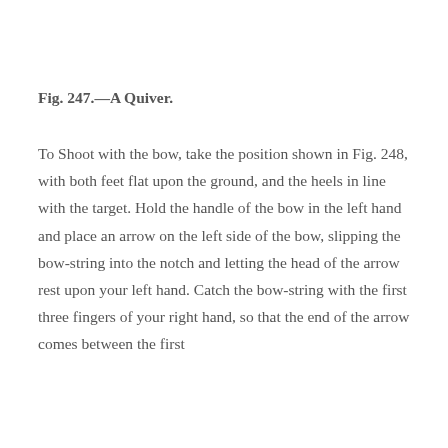Fig. 247.—A Quiver.
To Shoot with the bow, take the position shown in Fig. 248, with both feet flat upon the ground, and the heels in line with the target. Hold the handle of the bow in the left hand and place an arrow on the left side of the bow, slipping the bow-string into the notch and letting the head of the arrow rest upon your left hand. Catch the bow-string with the first three fingers of your right hand, so that the end of the arrow comes between the first